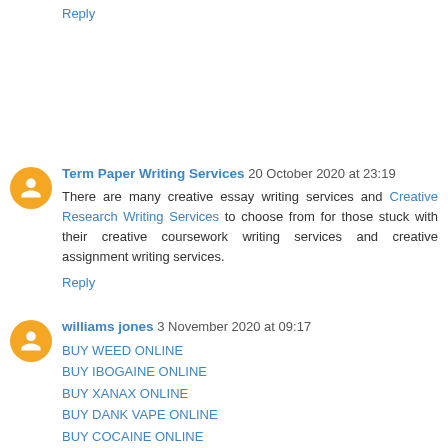Reply
Term Paper Writing Services 20 October 2020 at 23:19
There are many creative essay writing services and Creative Research Writing Services to choose from for those stuck with their creative coursework writing services and creative assignment writing services.
Reply
williams jones 3 November 2020 at 09:17
BUY WEED ONLINE
BUY IBOGAINE ONLINE
BUY XANAX ONLINE
BUY DANK VAPE ONLINE
BUY COCAINE ONLINE
BUY LSD ONLINE
BUY BLUE DREAM DANK VAPE ONLINE
BUY MOONROCKS ONLINE
BUY CARFENTANYL ONLINE